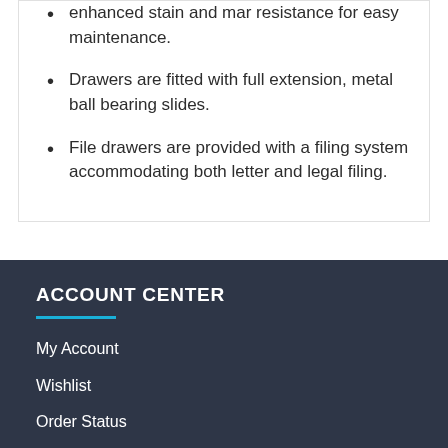enhanced stain and mar resistance for easy maintenance.
Drawers are fitted with full extension, metal ball bearing slides.
File drawers are provided with a filing system accommodating both letter and legal filing.
ACCOUNT CENTER
My Account
Wishlist
Order Status
Gift Certificates
Articles